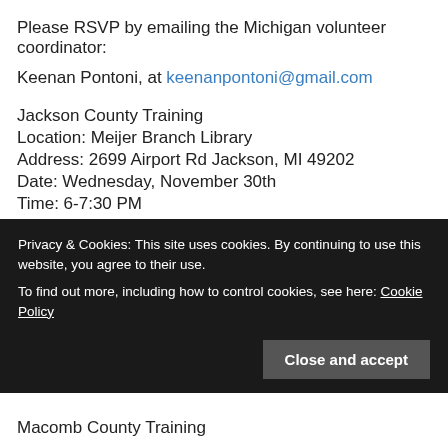Please RSVP by emailing the Michigan volunteer coordinator:
Keenan Pontoni, at keenanpontoni@gmail.com
Jackson County Training
Location: Meijer Branch Library
Address: 2699 Airport Rd Jackson, MI 49202
Date: Wednesday, November 30th
Time: 6-7:30 PM
Kalamazoo County Training
Location: IBEW Local 131 Hall
Privacy & Cookies: This site uses cookies. By continuing to use this website, you agree to their use. To find out more, including how to control cookies, see here: Cookie Policy
Macomb County Training